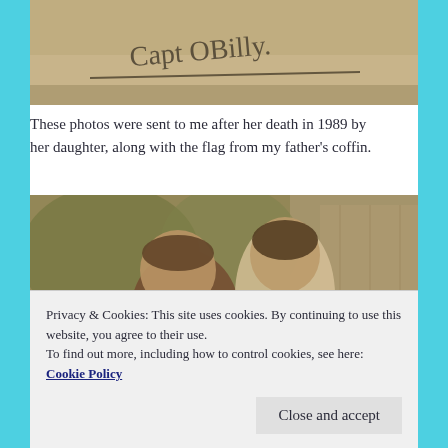[Figure (photo): Black and white or sepia photograph with handwritten text reading 'Capt OBilly.' visible at the top portion of the image.]
These photos were sent to me after her death in 1989 by her daughter, along with the flag from my father's coffin.
[Figure (photo): Sepia-toned vintage photograph of two people (a man and a woman) facing each other closely, outdoors near a building and foliage.]
Privacy & Cookies: This site uses cookies. By continuing to use this website, you agree to their use.
To find out more, including how to control cookies, see here: Cookie Policy